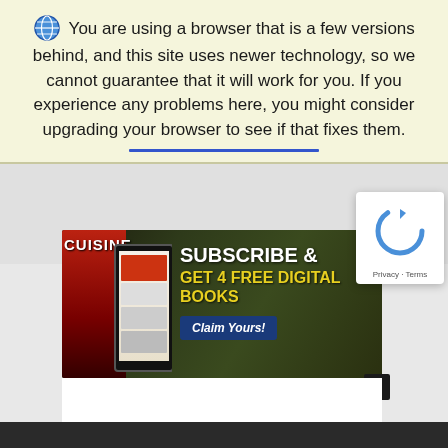🌐 You are using a browser that is a few versions behind, and this site uses newer technology, so we cannot guarantee that it will work for you. If you experience any problems here, you might consider upgrading your browser to see if that fixes them.
[Figure (screenshot): Advertisement banner for Cuisine magazine subscription: 'SUBSCRIBE & GET 4 FREE DIGITAL BOOKS' with a 'Claim Yours!' button, showing magazine covers and a tablet]
[Figure (other): reCAPTCHA widget with spinning arrow icon. Links to Privacy and Terms shown below.]